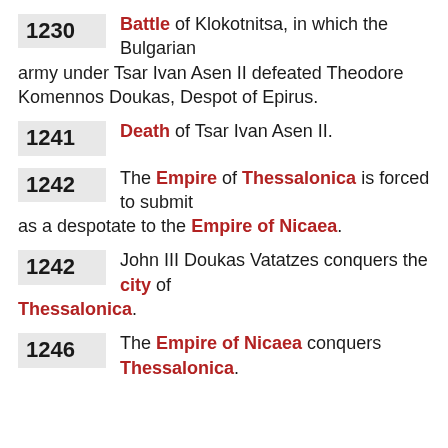1230 Battle of Klokotnitsa, in which the Bulgarian army under Tsar Ivan Asen II defeated Theodore Komennos Doukas, Despot of Epirus.
1241 Death of Tsar Ivan Asen II.
1242 The Empire of Thessalonica is forced to submit as a despotate to the Empire of Nicaea.
1242 John III Doukas Vatatzes conquers the city of Thessalonica.
1246 The Empire of Nicaea conquers Thessalonica.